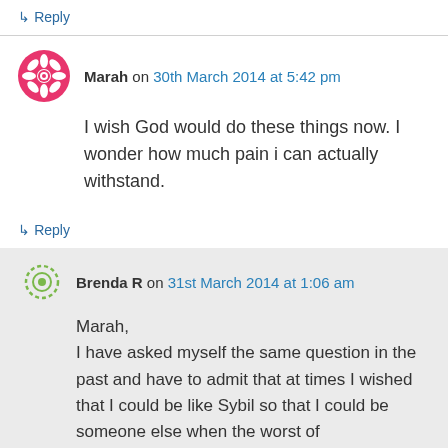↳ Reply
Marah on 30th March 2014 at 5:42 pm
I wish God would do these things now. I wonder how much pain i can actually withstand.
↳ Reply
Brenda R on 31st March 2014 at 1:06 am
Marah,
I have asked myself the same question in the past and have to admit that at times I wished that I could be like Sybil so that I could be someone else when the worst of